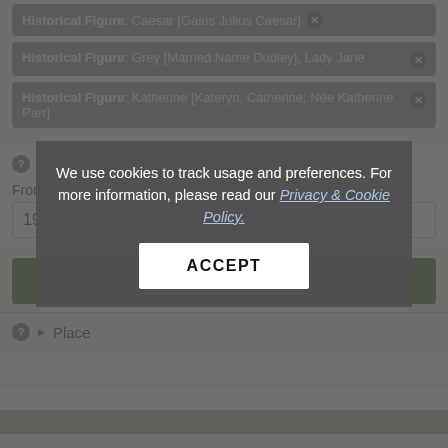Historical Figure: Caesar [Gaius Julius Caesar] ✕
Historical Figure: Grey [Married Name Dudley], Lady Jane ✕
Historical Figure: Katherine [Kateryn, Catherine; Née Katherine Parr] ✕
Date(s)
From: 1908
To: 1908
Update search
We use cookies to track usage and preferences. For more information, please read our Privacy & Cookie Policy.
ACCEPT
Place